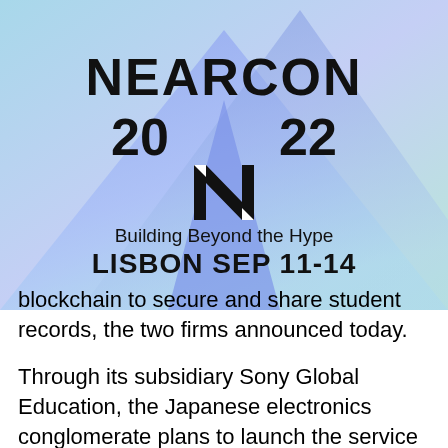[Figure (logo): NEARCON 2022 logo with blue/purple gradient triangular mountain shapes in background, NEAR protocol N symbol, text 'Building Beyond the Hype LISBON SEP 11-14']
blockchain to secure and share student records, the two firms announced today.
Through its subsidiary Sony Global Education, the Japanese electronics conglomerate plans to launch the service sometime next year. Underlying the platform is the IBM Blockchain offering...